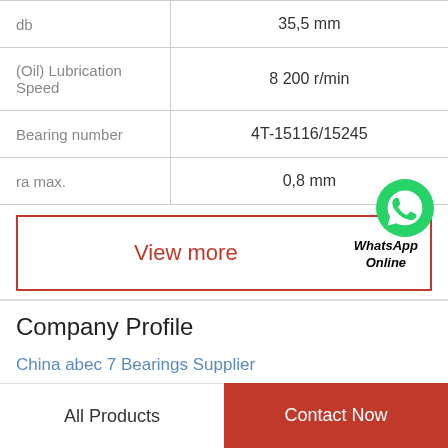| Parameter | Value |
| --- | --- |
| db | 35,5 mm |
| (Oil) Lubrication Speed | 8 200 r/min |
| Bearing number | 4T-15116/15245 |
| ra max. | 0,8 mm |
View more | WhatsApp Online
Company Profile
China abec 7 Bearings Supplier
All Products | Contact Now